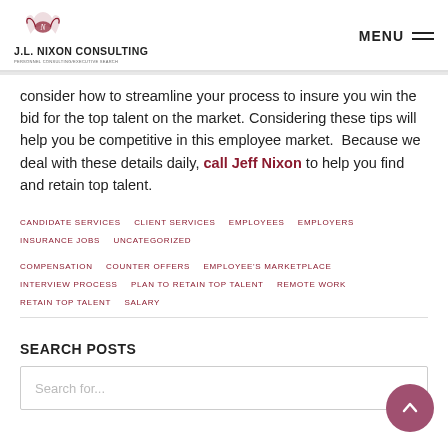J.L. Nixon Consulting — Personnel Consulting/Executive Search | MENU
consider how to streamline your process to insure you win the bid for the top talent on the market. Considering these tips will help you be competitive in this employee market. Because we deal with these details daily, call Jeff Nixon to help you find and retain top talent.
CANDIDATE SERVICES   CLIENT SERVICES   EMPLOYEES   EMPLOYERS   INSURANCE JOBS   UNCATEGORIZED
COMPENSATION   COUNTER OFFERS   EMPLOYEE'S MARKETPLACE   INTERVIEW PROCESS   PLAN TO RETAIN TOP TALENT   REMOTE WORK   RETAIN TOP TALENT   SALARY
SEARCH POSTS
Search for...